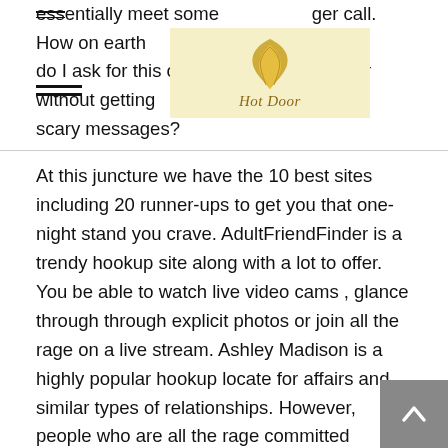essentially meet someone ger call. How on earth do I ask for this on an app akin to Tinder without getting scary messages?
[Figure (logo): Hot Door logo — golden wheat/flame graphic with cursive 'Hot Door' text on a pale yellow background]
At this juncture we have the 10 best sites including 20 runner-ups to get you that one-night stand you crave. AdultFriendFinder is a trendy hookup site along with a lot to offer. You be able to watch live video cams , glance through through explicit photos or join all the rage on a live stream. Ashley Madison is a highly popular hookup locate for affairs and similar types of relationships. However, people who are all the rage committed relationships or seeking another person to have a threesome with are also on the site. Home en route for a diverse pool of open-minded individuals, Ashley Madison is an excellent area for hookups. The only downside is that there are many fake profiles present on the site.